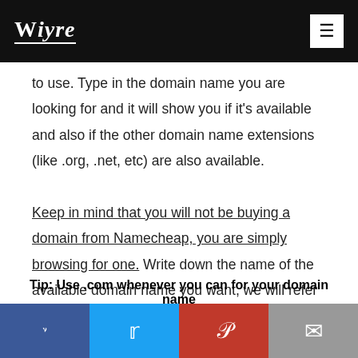Wiyre
to use. Type in the domain name you are looking for and it will show you if it's available and also if the other domain name extensions (like .org, .net, etc) are also available. Keep in mind that you will not be buying a domain from Namecheap, you are simply browsing for one. Write down the name of the available domain name you want, we will refer back to it later.
Tip: Use .com whenever you can for your domain name